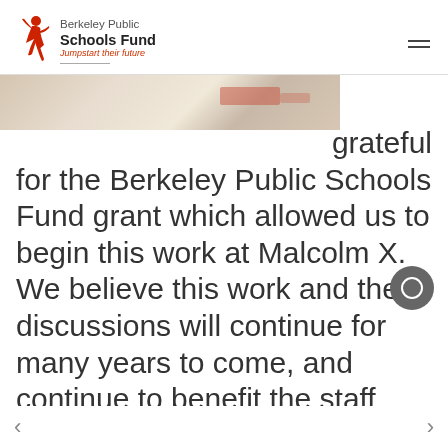Berkeley Public Schools Fund — Jumpstart their future
[Figure (photo): Partial image strip showing a banner or poster, cropped at the top of the content area]
grateful for the Berkeley Public Schools Fund grant which allowed us to begin this work at Malcolm X. We believe this work and these discussions will continue for many years to come, and continue to benefit the staff and students at Malcolm X. Teacher knowledge about how to promote student engagement, conversations (including both explaining and